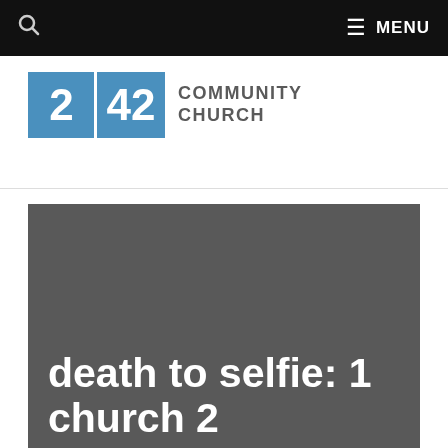🔍  ≡ MENU
[Figure (logo): 2|42 Community Church logo with blue boxes containing '2' and '42' and grey text 'COMMUNITY CHURCH']
[Figure (photo): Dark grey hero image background with large white bold text reading 'death to selfie: 1 church 2']